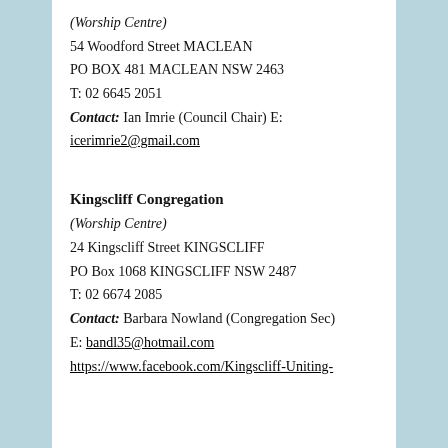(Worship Centre)
54 Woodford Street MACLEAN
PO BOX 481 MACLEAN NSW 2463
T: 02 6645 2051
Contact: Ian Imrie (Council Chair) E:
icerimrie2@gmail.com
Kingscliff Congregation
(Worship Centre)
24 Kingscliff Street KINGSCLIFF
PO Box 1068 KINGSCLIFF NSW 2487
T: 02 6674 2085
Contact: Barbara Nowland (Congregation Sec)
E: bandl35@hotmail.com
https://www.facebook.com/Kingscliff-Uniting-